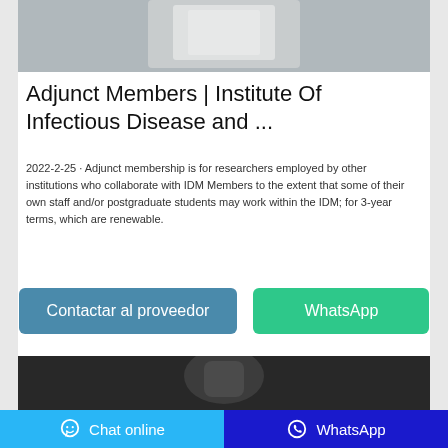[Figure (photo): Top portion of product image showing a bottle or vial on a surface, partially visible]
Adjunct Members | Institute Of Infectious Disease and ...
2022-2-25  ·  Adjunct membership is for researchers employed by other institutions who collaborate with IDM Members to the extent that some of their own staff and/or postgraduate students may work within the IDM; for 3-year terms, which are renewable.
[Figure (other): Two buttons: 'Contactar al proveedor' (blue) and 'WhatsApp' (green)]
[Figure (photo): Bottom image showing dark background with a product item, partially visible]
Chat online | WhatsApp